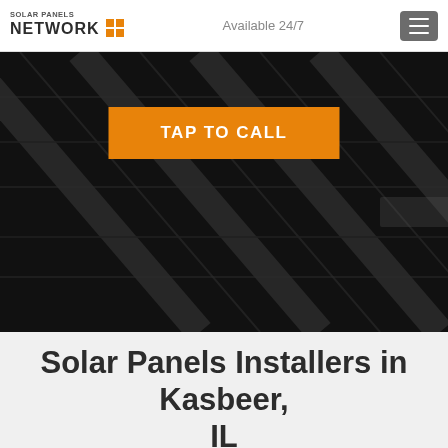Solar Panels NETWORK | Available 24/7
[Figure (screenshot): Dark solar panel array background image with orange TAP TO CALL button overlay]
Solar Panels Installers in Kasbeer, IL
CALL US FREE ON (855) 427-0058